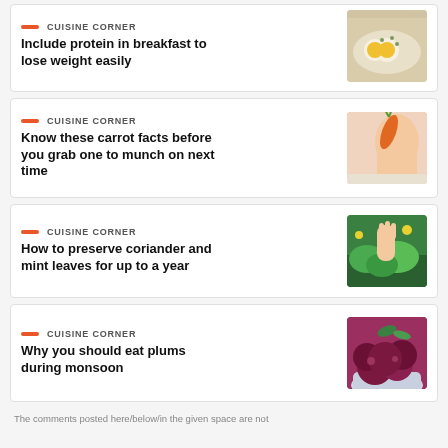CUISINE CORNER
Include protein in breakfast to lose weight easily
[Figure (photo): Fried eggs on toast with herbs on a white plate]
CUISINE CORNER
Know these carrot facts before you grab one to munch on next time
[Figure (photo): Hands holding a carrot over a cutting board]
CUISINE CORNER
How to preserve coriander and mint leaves for up to a year
[Figure (photo): Hand picking green herbs from a plant in a field]
CUISINE CORNER
Why you should eat plums during monsoon
[Figure (photo): Bowl of dark red plums with green leaves]
The comments posted here/below/in the given space are not